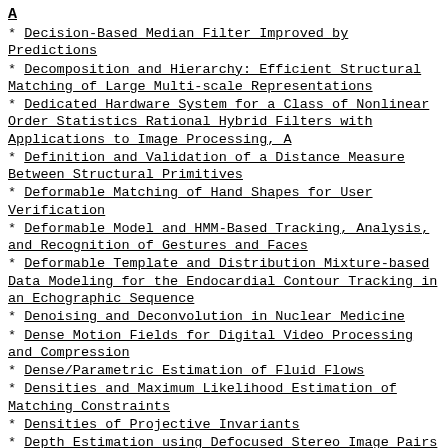A
Decision-Based Median Filter Improved by Predictions
Decomposition and Hierarchy: Efficient Structural Matching of Large Multi-scale Representations
Dedicated Hardware System for a Class of Nonlinear Order Statistics Rational Hybrid Filters with Applications to Image Processing, A
Definition and Validation of a Distance Measure Between Structural Primitives
Deformable Matching of Hand Shapes for User Verification
Deformable Model and HMM-Based Tracking, Analysis, and Recognition of Gestures and Faces
Deformable Template and Distribution Mixture-based Data Modeling for the Endocardial Contour Tracking in an Echographic Sequence
Denoising and Deconvolution in Nuclear Medicine
Dense Motion Fields for Digital Video Processing and Compression
Dense/Parametric Estimation of Fluid Flows
Densities and Maximum Likelihood Estimation of Matching Constraints
Densities of Projective Invariants
Depth Estimation using Defocused Stereo Image Pairs
Depth Measurement Using Frequency Analysis with an Active Projection